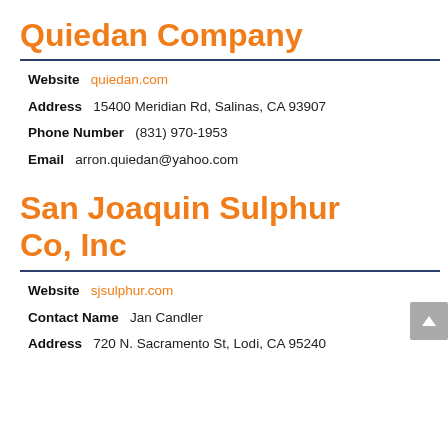Quiedan Company
Website  quiedan.com
Address  15400 Meridian Rd, Salinas, CA 93907
Phone Number  (831) 970-1953
Email  arron.quiedan@yahoo.com
San Joaquin Sulphur Co, Inc
Website  sjsulphur.com
Contact Name  Jan Candler
Address  720 N. Sacramento St, Lodi, CA 95240